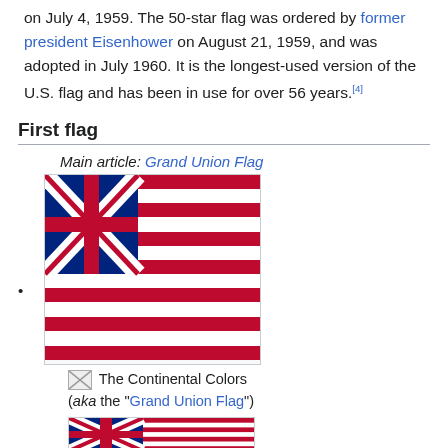on July 4, 1959. The 50-star flag was ordered by former president Eisenhower on August 21, 1959, and was adopted in July 1960. It is the longest-used version of the U.S. flag and has been in use for over 56 years.[4]
First flag
Main article: Grand Union Flag
[Figure (illustration): The Continental Colors / Grand Union Flag — a flag with a British Union Jack canton and 13 alternating red and white horizontal stripes]
The Continental Colors (aka the "Grand Union Flag")
[Figure (illustration): Smaller image of the Grand Union Flag at the bottom of the page]